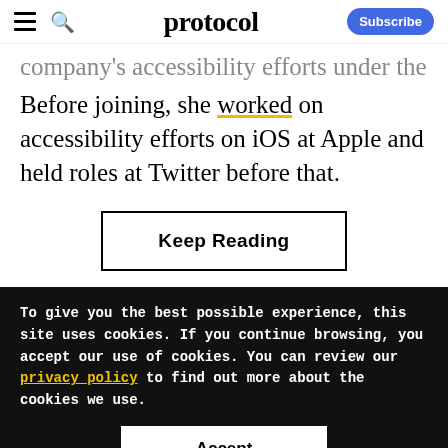protocol
company's accessibility efforts under the roof. Before joining, she worked on accessibility efforts on iOS at Apple and held roles at Twitter before that.
Keep Reading
To give you the best possible experience, this site uses cookies. If you continue browsing, you accept our use of cookies. You can review our privacy policy to find out more about the cookies we use.
Accept